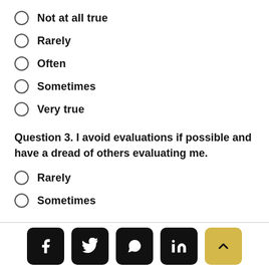Not at all true
Rarely
Often
Sometimes
Very true
Question 3. I avoid evaluations if possible and have a dread of others evaluating me.
Rarely
Sometimes
Social share buttons: Facebook, Twitter, WhatsApp, LinkedIn, Scroll to top